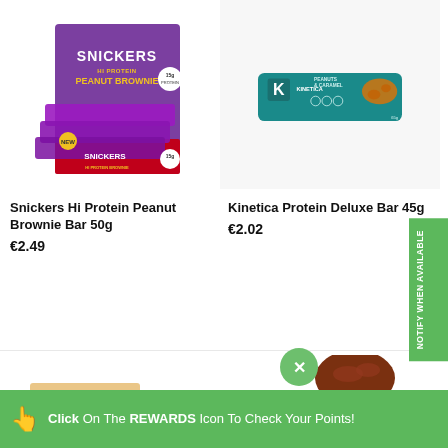[Figure (photo): Snickers Hi Protein Peanut Brownie Bar 50g product box, purple and red packaging with multiple bars visible]
[Figure (photo): Kinetica Protein Deluxe Bar 45g, teal/green packaging with peanuts and caramel flavor, showing single bar]
Snickers Hi Protein Peanut Brownie Bar 50g
€2.49
Kinetica Protein Deluxe Bar 45g
€2.02
[Figure (photo): PHD Smart protein bars partially visible at bottom left]
[Figure (photo): Grenade or similar bar partially visible at bottom right]
NOTIFY WHEN AVAILABLE
Click On The REWARDS Icon To Check Your Points!